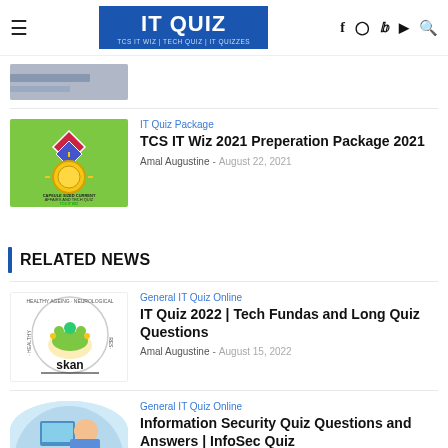IT QUIZ | TCS IT WIZ | TECH QUIZ | IT QUIZZES
[Figure (screenshot): Partially visible article thumbnail at top]
IT Quiz Package
TCS IT Wiz 2021 Preperation Package 2021
Amal Augustine - August 22, 2021
RELATED NEWS
[Figure (logo): SKAN - Healthy Ageing Neurological Research logo]
General IT Quiz Online
IT Quiz 2022 | Tech Fundas and Long Quiz Questions
Amal Augustine - August 15, 2022
[Figure (illustration): Partial blue circular illustration with person at computer]
General IT Quiz Online
Information Security Quiz Questions and Answers | InfoSec Quiz